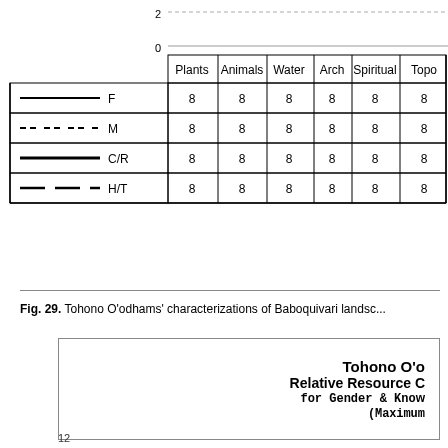[Figure (grouped-bar-chart): Relative Resource Characterizations by gender & knowledge type]
Fig. 29. Tohono O'odhams' characterizations of Baboquivari landsc...
[Figure (other): Partial view of a chart box titled 'Tohono O'o... Relative Resource C... for Gender & Know... (Maximum...']